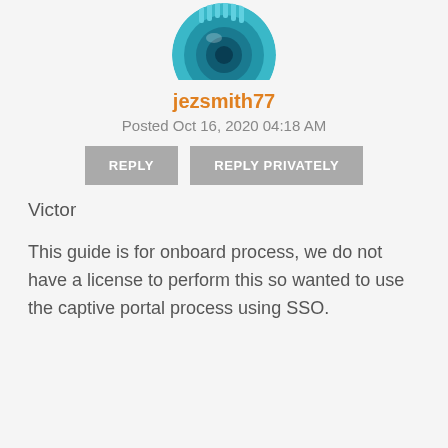[Figure (photo): Circular avatar image showing a camera lens in teal/blue colors, cropped at the top]
jezsmith77
Posted Oct 16, 2020 04:18 AM
REPLY
REPLY PRIVATELY
Victor
This guide is for onboard process, we do not have a license to perform this so wanted to use the captive portal process using SSO.